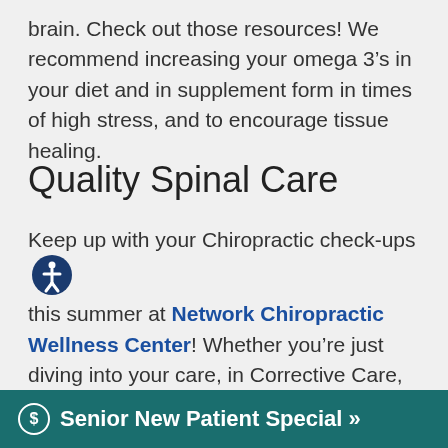brain. Check out those resources! We recommend increasing your omega 3’s in your diet and in supplement form in times of high stress, and to encourage tissue healing.
Quality Spinal Care
Keep up with your Chiropractic check-ups this summer at Network Chiropractic Wellness Center! Whether you’re just diving into your care, in Corrective Care, in Wellness-Maintenance Care, or are feeling the pull for an upgrade in how your nervous system is performing. There is a rhythm for all of us. Honor what your b...
$ Senior New Patient Special »